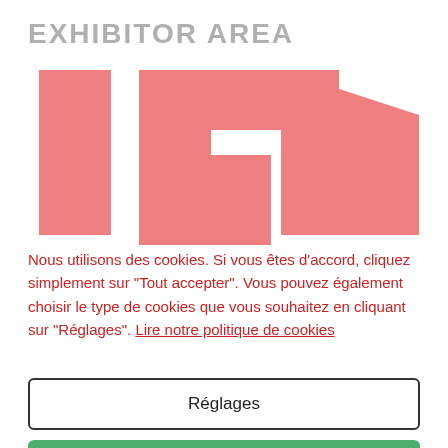EXHIBITOR AREA
[Figure (logo): Stylized red/salmon colored logo with angular shapes resembling the letters or number 101]
Nous utilisons des cookies. Si vous êtes d'accord, cliquez simplement sur "Tout accepter". Vous pouvez également choisir le type de cookies que vous souhaitez en cliquant sur "Réglages". Lire notre politique de cookies
Réglages
Tout accepter